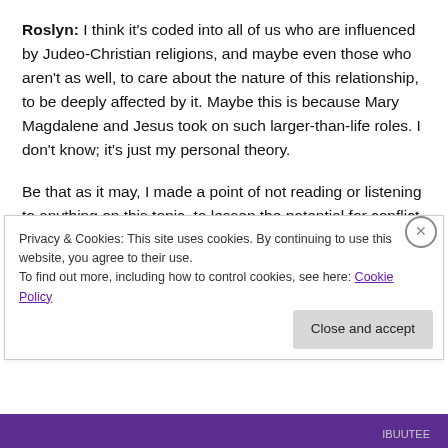Roslyn: I think it's coded into all of us who are influenced by Judeo-Christian religions, and maybe even those who aren't as well, to care about the nature of this relationship, to be deeply affected by it. Maybe this is because Mary Magdalene and Jesus took on such larger-than-life roles. I don't know; it's just my personal theory.
Be that as it may, I made a point of not reading or listening to anything on this topic, to lessen the potential for conflict between ideas in my mind and what I heard from Mary Magdalene's mother. Though certainly I had already heard
Privacy & Cookies: This site uses cookies. By continuing to use this website, you agree to their use.
To find out more, including how to control cookies, see here: Cookie Policy
Close and accept